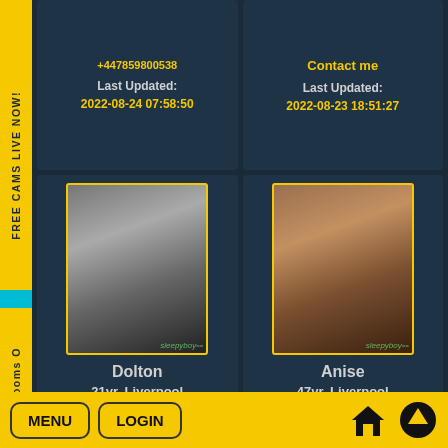+447859800538
Contact me
Last Updated:
2022-08-24 07:58:50
Last Updated:
2022-08-23 18:51:27
[Figure (photo): Black and white photo of muscular male torso, raising arm, with 'sleepyboy' watermark]
Dolton
21yr, Liverpool
+447955139314
Last Updated:
2022-08-23 11:56:43
[Figure (photo): Photo of female figure from behind with blonde hair, dark background, with 'sleepyboy' watermark]
Anise
47yr, Liverpool
+447903333816
Last Updated:
2022-08-23 11:31:15
MENU  LOGIN  [home icon]  [up arrow icon]